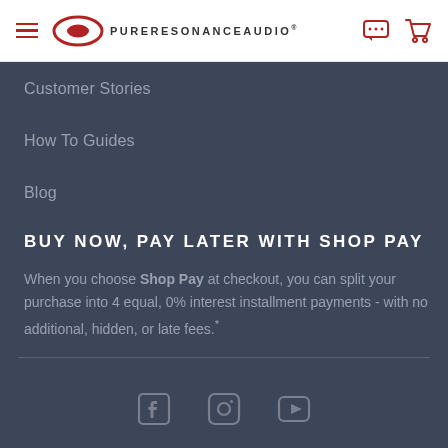Pure Resonance Audio
Customer Stories
How To Guides
Blog
BUY NOW, PAY LATER WITH SHOP PAY
When you choose Shop Pay at checkout, you can split your purchase into 4 equal, 0% interest installment payments - with no additional, hidden, or late fees.*
Social media icons: Facebook, Instagram, YouTube